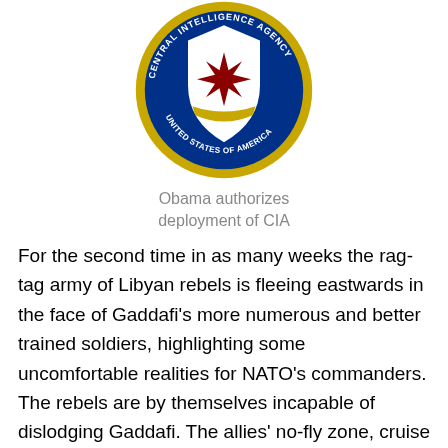[Figure (logo): CIA seal/logo showing a bald eagle on a shield with a compass star, surrounded by the text 'CENTRAL INTELLIGENCE AGENCY' and 'UNITED STATES OF AMERICA' on a blue and gold circular badge]
Obama authorizes deployment of CIA
For the second time in as many weeks the rag-tag army of Libyan rebels is fleeing eastwards in the face of Gaddafi's more numerous and better trained soldiers, highlighting some uncomfortable realities for NATO's commanders. The rebels are by themselves incapable of dislodging Gaddafi. The allies' no-fly zone, cruise missile strikes and bombing missions may be sufficient to deny Gaddafi a victory over his rebel opponents but it cannot assure success for the rebels.